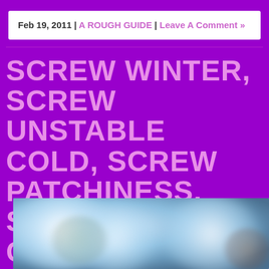Feb 19, 2011 | A ROUGH GUIDE | Leave A Comment »
SCREW WINTER, SCREW UNSTABLE COLD, SCREW PATCHINESS, SCREW CLOSURES, SCREW HESITATION, SC... IT'S TIME TO MOVE ON. WE HEREBY HERE IN NONDON (WC1, to be precise
[Figure (photo): Blurred close-up photo of snow-covered tree branches or similar wintry botanical subject with a light blue and white color palette]